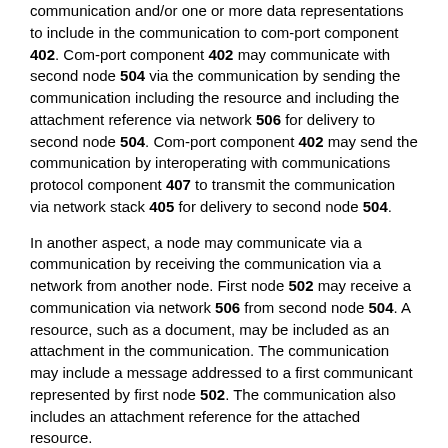communication and/or one or more data representations to include in the communication to com-port component 402. Com-port component 402 may communicate with second node 504 via the communication by sending the communication including the resource and including the attachment reference via network 506 for delivery to second node 504. Com-port component 402 may send the communication by interoperating with communications protocol component 407 to transmit the communication via network stack 405 for delivery to second node 504.
In another aspect, a node may communicate via a communication by receiving the communication via a network from another node. First node 502 may receive a communication via network 506 from second node 504. A resource, such as a document, may be included as an attachment in the communication. The communication may include a message addressed to a first communicant represented by first node 502. The communication also includes an attachment reference for the attached resource.
Com-port component 402 operating in execution environment 401 included in and/or provided by first node 502 may receive a communication including a resource as an attachment and including an attachment reference via network 506 from second node 504. The communication may be received in one or more packets via network stack 405 and communications protocol component 407. Com-port component 402 may provide the data to content